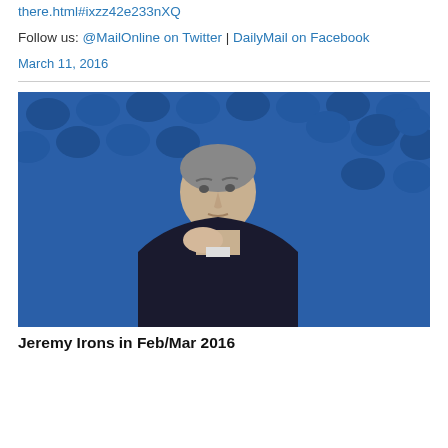there.html#ixzz42e233nXQ
Follow us: @MailOnline on Twitter | DailyMail on Facebook
March 11, 2016
[Figure (photo): A man (Jeremy Irons) seated in front of blue theater/cinema seats, resting his chin on his hand, wearing a dark sweater]
Jeremy Irons in Feb/Mar 2016